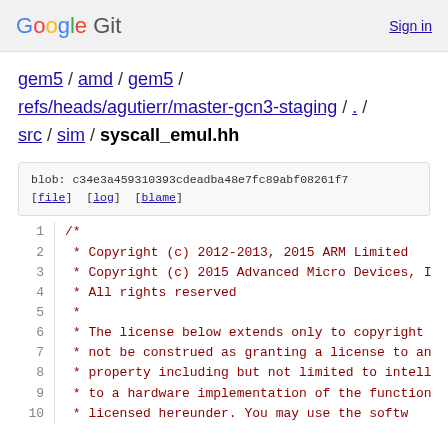Google Git  Sign in
gem5 / amd / gem5 / refs/heads/agutierr/master-gcn3-staging / . / src / sim / syscall_emul.hh
blob: c34e3a459310393cdeadba48e7fc89abf08261f7 [file] [log] [blame]
1  /*
2   * Copyright (c) 2012-2013, 2015 ARM Limited
3   * Copyright (c) 2015 Advanced Micro Devices, I
4   * All rights reserved
5   *
6   * The license below extends only to copyright
7   * not be construed as granting a license to an
8   * property including but not limited to intell
9   * to a hardware implementation of the function
10  * licensed hereunder. You may use the softw